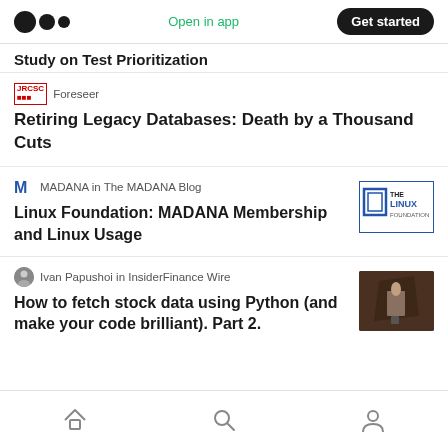Medium app header with logo, Open in app, Get started button
Study on Test Prioritization
Foreseer
Retiring Legacy Databases: Death by a Thousand Cuts
MADANA in The MADANA Blog
Linux Foundation: MADANA Membership and Linux Usage
Ivan Papushoi in InsiderFinance Wire
How to fetch stock data using Python (and make your code brilliant). Part 2.
Home, Search, Profile navigation icons